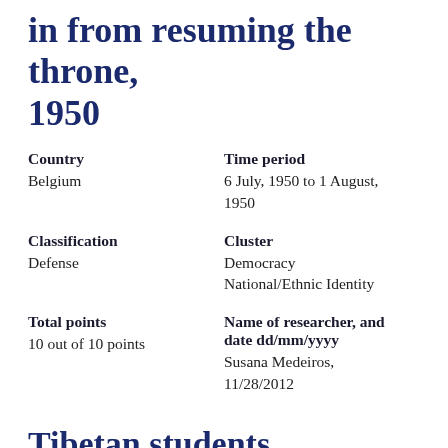in from resuming the throne, 1950
Country
Belgium
Time period
6 July, 1950 to 1 August, 1950
Classification
Defense
Cluster
Democracy
National/Ethnic Identity
Total points
10 out of 10 points
Name of researcher, and date dd/mm/yyyy
Susana Medeiros, 11/28/2012
Tibetan students campaign to defend Tibetan language in schools, Tibet and China, 2010